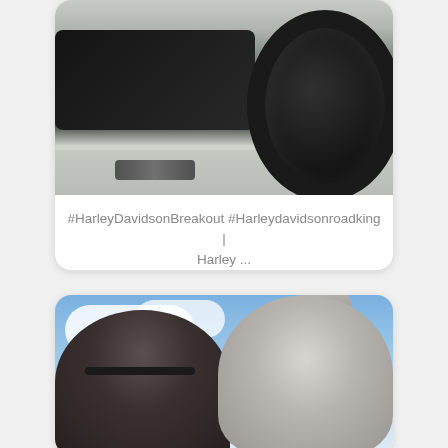[Figure (photo): Harley-Davidson motorcycle photographed from rear angle on a concrete surface, showing large rear tire and black bodywork]
#HarleyDavidsonBreakout #Harleydavidsonroadking | Harley ...
[Figure (photo): Selfie of a person wearing a dark beanie and goggles, next to a husky dog, outdoors with cloudy sky in background]